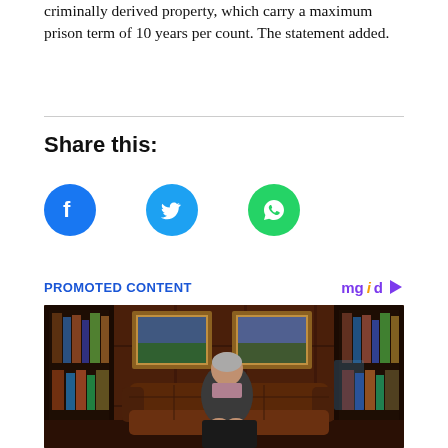criminally derived property, which carry a maximum prison term of 10 years per count. The statement added.
Share this:
[Figure (infographic): Social share buttons: Facebook (blue circle), Twitter (cyan circle), WhatsApp (green circle)]
PROMOTED CONTENT   mgid ▷
[Figure (photo): An elderly man in a dark suit sits on a brown leather sofa in a wood-paneled library-style room with framed paintings on the wall and bookshelves on either side.]